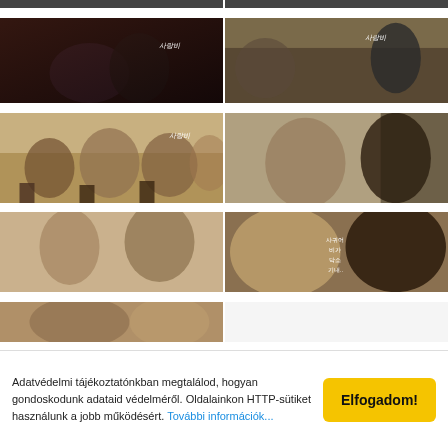[Figure (photo): Top strip of photos partially visible]
[Figure (photo): Couple embracing indoors, Korean drama still with title text overlay]
[Figure (photo): Scene in restaurant/bar with two people, Korean drama title overlay]
[Figure (photo): Group of people laughing around a dinner table with drinks, Korean drama]
[Figure (photo): Couple outdoors, man gesturing with finger raised toward woman]
[Figure (photo): Two women portrait outdoors]
[Figure (photo): Close-up of woman and man, Korean text overlay]
[Figure (photo): Bottom partial photo, outdoor scene]
Adatvédelmi tájékoztatónkban megtalálod, hogyan gondoskodunk adataid védelméről. Oldalainkon HTTP-sütiket használunk a jobb működésért. További információk...
Elfogadom!